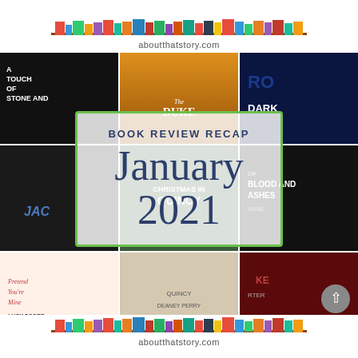[Figure (illustration): Blog post cover image for 'About That Story' book review recap for January 2021. Shows a collage of book covers in the background (including 'A Touch of Stone and', 'The Duke', dark/blood and ashes themed covers, Christmas in Quincy, Pretend You're Mine by Lucy Score, and others). A white semi-transparent overlay card in the center contains the text 'BOOK REVIEW RECAP' and 'January 2021'. Top and bottom white banners show a colorful bookshelf illustration and the URL 'aboutthatstory.com'. A scroll-to-top button (circle with up arrow) appears in the lower right.]